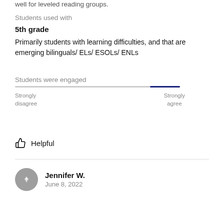well for leveled reading groups.
Students used with
5th grade
Primarily students with learning difficulties, and that are emerging bilinguals/ ELs/ ESOLs/ ENLs
Students were engaged
[Figure (other): A horizontal slider/scale indicating 'Students were engaged', positioned closer to Strongly agree end. Left label: Strongly disagree. Right label: Strongly agree.]
Helpful
Jennifer W.
June 8, 2022